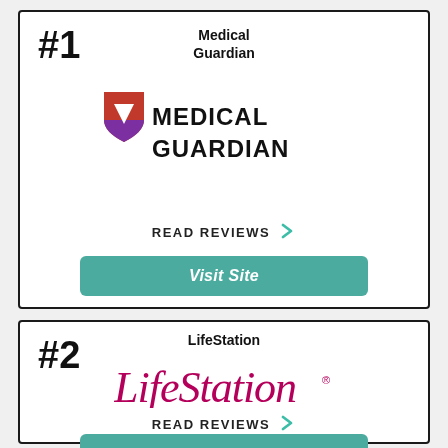#1
Medical Guardian
[Figure (logo): Medical Guardian logo with red/purple shield icon and bold black text MEDICAL GUARDIAN]
READ REVIEWS
Visit Site
#2
LifeStation
[Figure (logo): LifeStation logo in magenta/crimson italic serif font with registered trademark symbol]
READ REVIEWS